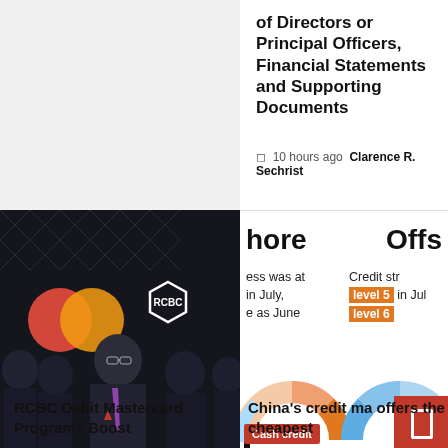of Directors or Principal Officers, Financial Statements and Supporting Documents
10 hours ago  Clarence R. Sechrist
[Figure (photo): Photo of executives at RCBC Debit Mastercard event, with Mastercard logo and RCBC hexagon sign visible in background]
Cash debit
hore   Offs
ess was at in July, e as June   Credit str level 5 in Jul level 6
[Figure (infographic): Two semi-circular gauge charts side by side — left gauge showing Cash debit in orange/salmon tones, right gauge showing Credit stress levels in blue tones with level 5 and level 6 highlighted in orange]
Cash credit
RCBC Debit Mastercard Programs Boost
China's credit ma offers the cheapest